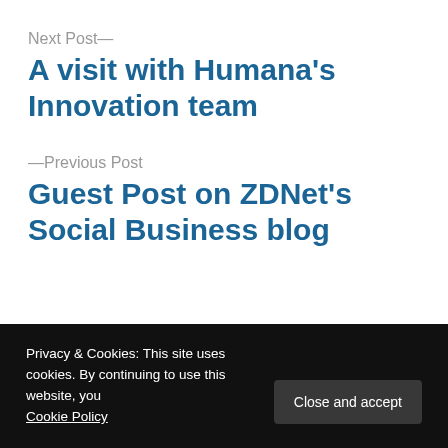Next Post—
A visit with Humana's Innovation team
—Previous Post
Guest Post on ZDNet's Social Business blog
Privacy & Cookies: This site uses cookies. By continuing to use this website, you Cookie Policy
Close and accept